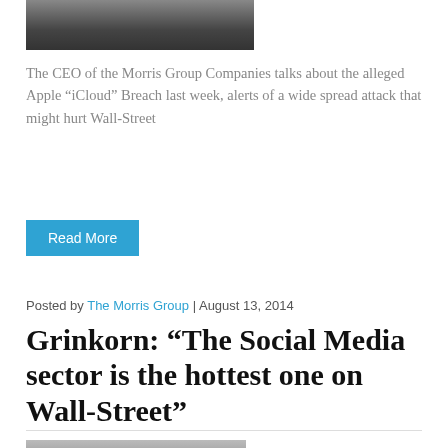[Figure (photo): Top portion of a photo of a man in a dark suit with white shirt, cropped at chin level]
The CEO of the Morris Group Companies talks about the alleged Apple “iCloud” Breach last week, alerts of a wide spread attack that might hurt Wall-Street
Read More
Posted by The Morris Group | August 13, 2014
Grinkorn: “The Social Media sector is the hottest one on Wall-Street”
[Figure (photo): Bottom portion of a photo showing a statue or sculpture outdoors with trees in background]